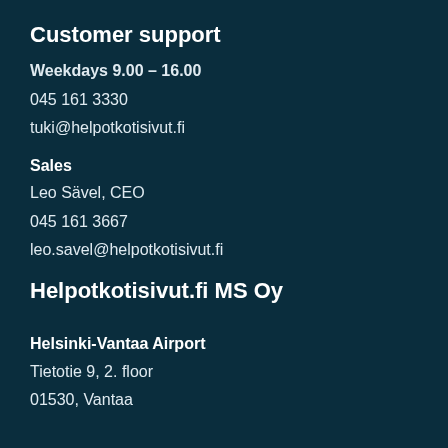Customer support
Weekdays 9.00 – 16.00
045 161 3330
tuki@helpotkotisivut.fi
Sales
Leo Sävel, CEO
045 161 3667
leo.savel@helpotkotisivut.fi
Helpotkotisivut.fi MS Oy
Helsinki-Vantaa Airport
Tietotie 9, 2. floor
01530, Vantaa